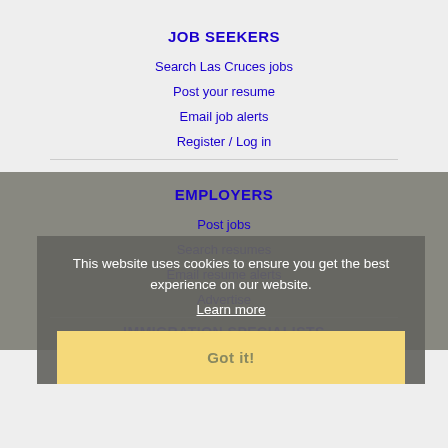JOB SEEKERS
Search Las Cruces jobs
Post your resume
Email job alerts
Register / Log in
EMPLOYERS
Post jobs
Search resumes
Email resume alerts
Advertise
This website uses cookies to ensure you get the best experience on our website.
Learn more
Got it!
IMMIGRATION SPECIALISTS